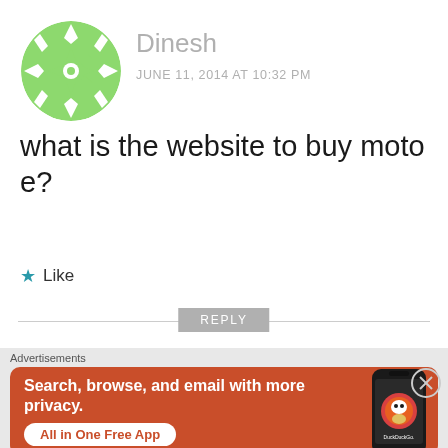[Figure (illustration): Green geometric snowflake-pattern avatar for user Dinesh]
Dinesh
JUNE 11, 2014 AT 10:32 PM
what is the website to buy moto e?
★ Like
REPLY
[Figure (illustration): Purple abstract bird/animal avatar for user sunil (partially visible)]
sunil
Advertisements
[Figure (infographic): DuckDuckGo advertisement banner: orange background, white bold text 'Search, browse, and email with more privacy. All in One Free App', with a phone graphic showing DuckDuckGo app]
Search, browse, and email with more privacy. All in One Free App